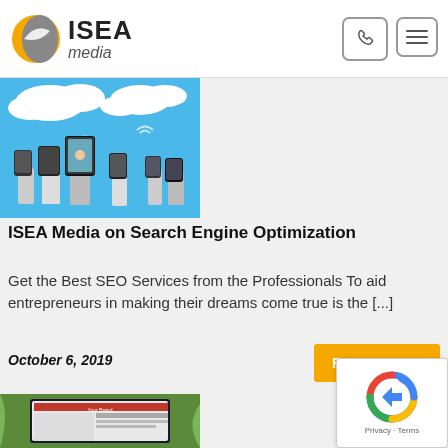ISEA media
[Figure (illustration): Illustration of people holding up various digital devices (tablets, phones) against a blue sky with clouds — digital connectivity theme]
ISEA Media on Search Engine Optimization
Get the Best SEO Services from the Professionals To aid entrepreneurs in making their dreams come true is the [...]
October 6, 2019
READ MORE
[Figure (screenshot): Partial screenshot of a website/brand page with green plant background, showing 'Your Brand' text]